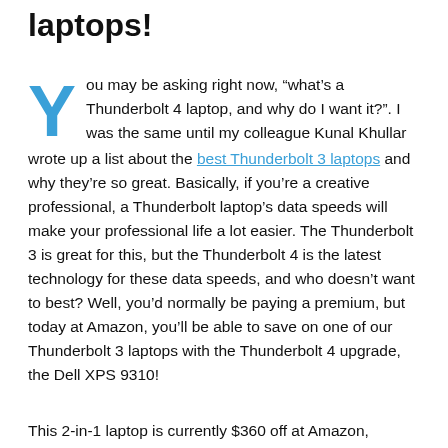laptops!
You may be asking right now, “what’s a Thunderbolt 4 laptop, and why do I want it?”. I was the same until my colleague Kunal Khullar wrote up a list about the best Thunderbolt 3 laptops and why they’re so great. Basically, if you’re a creative professional, a Thunderbolt laptop’s data speeds will make your professional life a lot easier. The Thunderbolt 3 is great for this, but the Thunderbolt 4 is the latest technology for these data speeds, and who doesn’t want to best? Well, you’d normally be paying a premium, but today at Amazon, you’ll be able to save on one of our Thunderbolt 3 laptops with the Thunderbolt 4 upgrade, the Dell XPS 9310!
This 2-in-1 laptop is currently $360 off at Amazon,